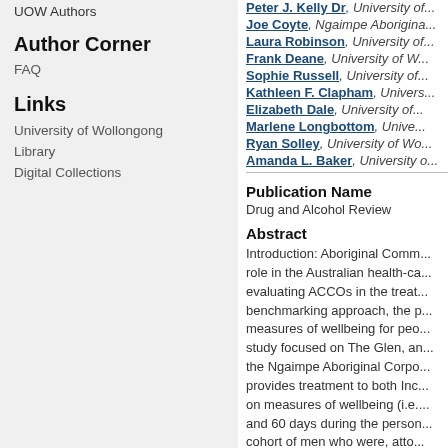UOW Authors
Author Corner
FAQ
Links
University of Wollongong
Library
Digital Collections
Peter J. Kelly Dr, University of...
Joe Coyte, Ngaimpe Aborigina...
Laura Robinson, University of...
Frank Deane, University of W...
Sophie Russell, University of...
Kathleen F. Clapham, Univers...
Elizabeth Dale, University of...
Marlene Longbottom, Unive...
Ryan Solley, University of Wo...
Amanda L. Baker, University o...
Publication Name
Drug and Alcohol Review
Abstract
Introduction: Aboriginal Comm... role in the Australian health-ca... evaluating ACCOs in the treat... benchmarking approach, the p... measures of wellbeing for peo... study focused on The Glen, an... the Ngaimpe Aboriginal Corpo... provides treatment to both Inc... on measures of wellbeing (i.e.... and 60 days during the person... cohort of men who were, atto...